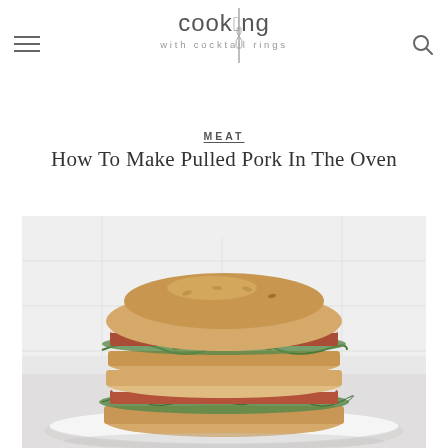cooking with cocktail rings
MEAT
How To Make Pulled Pork In The Oven
[Figure (photo): Stacked pulled pork sandwiches on a white plate with arugula and sauce, against a white tile background]